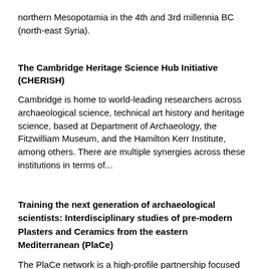northern Mesopotamia in the 4th and 3rd millennia BC (north-east Syria).
The Cambridge Heritage Science Hub Initiative (CHERISH)
Cambridge is home to world-leading researchers across archaeological science, technical art history and heritage science, based at Department of Archaeology, the Fitzwilliam Museum, and the Hamilton Kerr Institute, among others. There are multiple synergies across these institutions in terms of...
Training the next generation of archaeological scientists: Interdisciplinary studies of pre-modern Plasters and Ceramics from the eastern Mediterranean (PlaCe)
The PlaCe network is a high-profile partnership focused on the interdisciplinary study of pre-modern ceramics and plasters. This Innovative Training Network aims at training Early-Stage Researchers to conduct state-of-the-